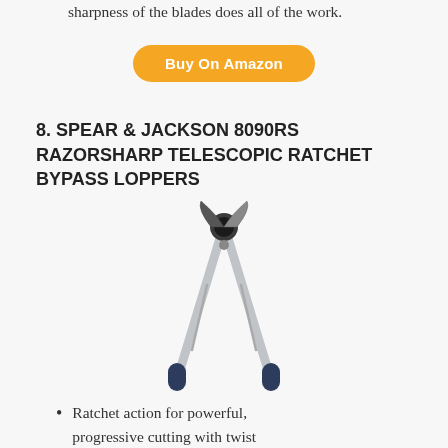sharpness of the blades does all of the work.
Buy On Amazon
8. SPEAR & JACKSON 8090RS RAZORSHARP TELESCOPIC RATCHET BYPASS LOPPERS
[Figure (photo): Spear & Jackson 8090RS telescopic ratchet bypass loppers — long aluminium handles with dark blue rubber grips, shown open in an X shape against white background.]
Ratchet action for powerful, progressive cutting with twist